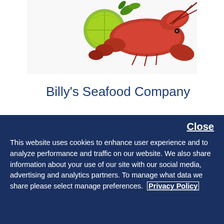[Figure (photo): Photo of a red lobster with a lime wedge on a white background, partially cropped at top]
Billy's Seafood Company
One of NB's most beloved restaurants, Billy's Seafood Company is a must-see stop for the hungry Saint John traveler.
Close
This website uses cookies to enhance user experience and to analyze performance and traffic on our website. We also share information about your use of our site with our social media, advertising and analytics partners. To manage what data we share please select manage preferences. Privacy Policy